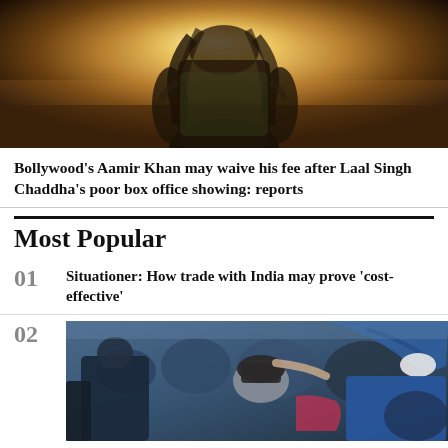[Figure (photo): A person with long hair photographed from behind against a bright golden/sunset background]
Bollywood's Aamir Khan may waive his fee after Laal Singh Chaddha's poor box office showing: reports
Most Popular
01 Situationer: How trade with India may prove 'cost-effective'
02
[Figure (photo): A crowd scene showing people, one person being held or surrounded by others in blue clothing]